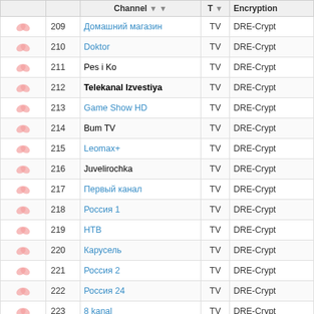|  |  | Channel | T | Encryption |
| --- | --- | --- | --- | --- |
|  | 209 | Домашний магазин | TV | DRE-Crypt |
|  | 210 | Doktor | TV | DRE-Crypt |
|  | 211 | Pes i Ko | TV | DRE-Crypt |
|  | 212 | Telekanal Izvestiya | TV | DRE-Crypt |
|  | 213 | Game Show HD | TV | DRE-Crypt |
|  | 214 | Bum TV | TV | DRE-Crypt |
|  | 215 | Leomax+ | TV | DRE-Crypt |
|  | 216 | Juvelirochka | TV | DRE-Crypt |
|  | 217 | Первый канал | TV | DRE-Crypt |
|  | 218 | Россия 1 | TV | DRE-Crypt |
|  | 219 | НТВ | TV | DRE-Crypt |
|  | 220 | Карусель | TV | DRE-Crypt |
|  | 221 | Россия 2 | TV | DRE-Crypt |
|  | 222 | Россия 24 | TV | DRE-Crypt |
|  | 223 | 8 kanal | TV | DRE-Crypt |
|  | 224 | Кинопоказ | TV | DRE-Crypt |
|  | 225 | Звезда | TV | DRE-Crypt |
|  | 226 | ТНТ | TV | DRE-Crypt |